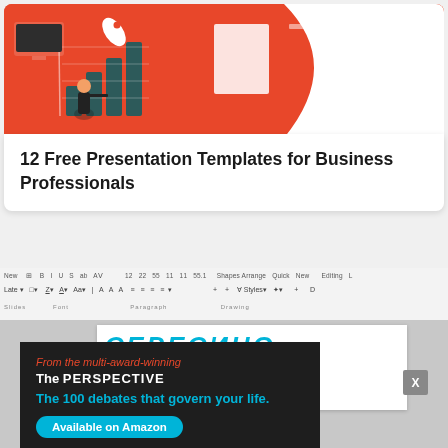[Figure (illustration): Blog article card with red/orange hero illustration showing a person pointing at a bar chart with a rocket, on a coral-red background with a wave cutout.]
12 Free Presentation Templates for Business Professionals
[Figure (screenshot): Screenshot of Microsoft PowerPoint toolbar and slide editor showing a partially visible slide with cyan decorative text.]
[Figure (infographic): Dark advertisement overlay reading: 'From the multi-award-winning / The PERSPECTIVE / The 100 debates that govern your life. / Available on Amazon']